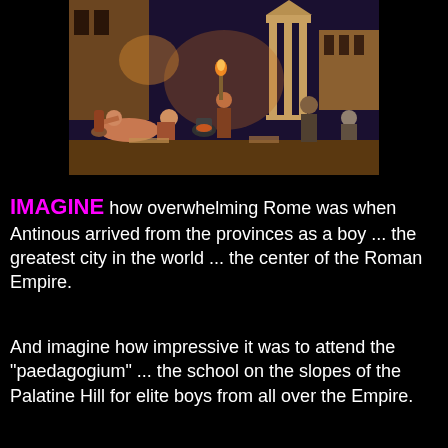[Figure (illustration): A colorful painted illustration depicting a bustling ancient Roman street scene at night with many figures, market stalls, torchlight, columns and buildings in the background.]
IMAGINE how overwhelming Rome was when Antinous arrived from the provinces as a boy ... the greatest city in the world ... the center of the Roman Empire.
And imagine how impressive it was to attend the "paedagogium" ... the school on the slopes of the Palatine Hill for elite boys from all over the Empire.